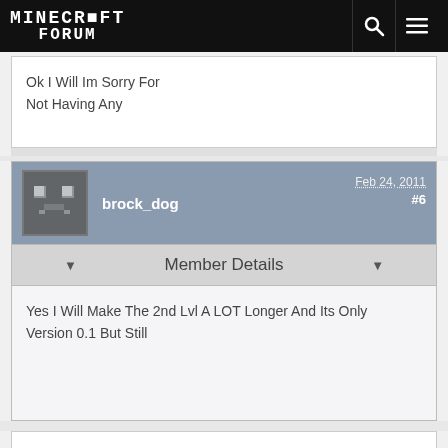MINECRAFT FORUM
Ok I Will Im Sorry For Not Having Any
brock_dog  Feb 24, 2011  #6
Member Details
Yes I Will Make The 2nd Lvl A LOT Longer And Its Only Version 0.1 But Still
To post a comment, please login.